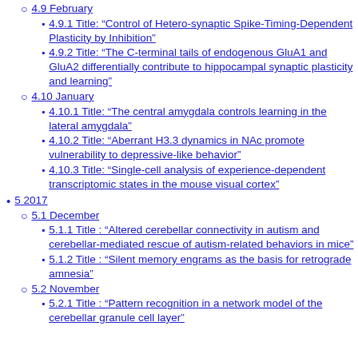4.9 February
4.9.1 Title: “Control of Hetero-synaptic Spike-Timing-Dependent Plasticity by Inhibition”
4.9.2 Title: “The C-terminal tails of endogenous GluA1 and GluA2 differentially contribute to hippocampal synaptic plasticity and learning”
4.10 January
4.10.1 Title: “The central amygdala controls learning in the lateral amygdala”
4.10.2 Title: “Aberrant H3.3 dynamics in NAc promote vulnerability to depressive-like behavior”
4.10.3 Title: “Single-cell analysis of experience-dependent transcriptomic states in the mouse visual cortex”
5 2017
5.1 December
5.1.1 Title : “Altered cerebellar connectivity in autism and cerebellar-mediated rescue of autism-related behaviors in mice”
5.1.2 Title : “Silent memory engrams as the basis for retrograde amnesia”
5.2 November
5.2.1 Title : “Pattern recognition in a network model of the cerebellar granule cell layer”